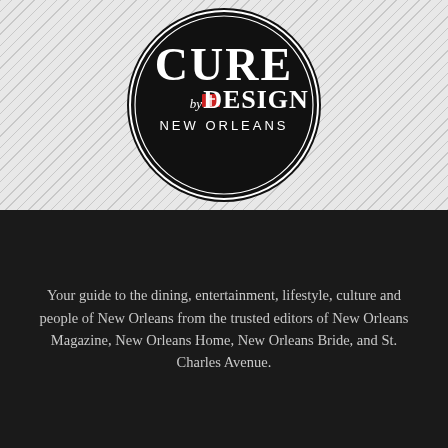[Figure (logo): Cure by Design New Orleans circular logo — black circle with double white ring border, featuring 'CURE' in large serif letters, 'by DESIGN' below with American Cancer Society sword logo icon, and 'NEW ORLEANS' at the bottom, all in white on black background]
Your guide to the dining, entertainment, lifestyle, culture and people of New Orleans from the trusted editors of New Orleans Magazine, New Orleans Home, New Orleans Bride, and St. Charles Avenue.